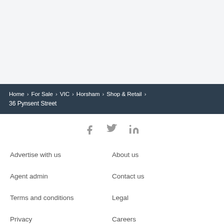Home > For Sale > VIC > Horsham > Shop & Retail > 36 Pynsent Street
[Figure (illustration): Social media icons: Facebook (f), Twitter (bird), LinkedIn (in)]
Advertise with us
About us
Agent admin
Contact us
Terms and conditions
Legal
Privacy
Careers